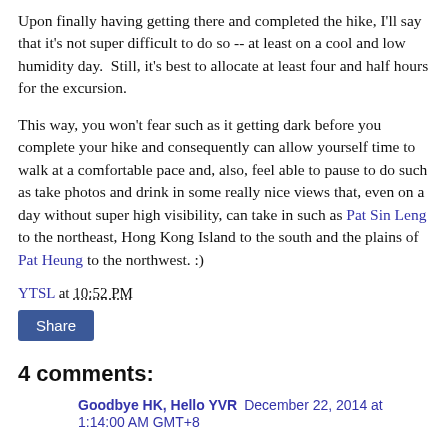Upon finally having getting there and completed the hike, I'll say that it's not super difficult to do so -- at least on a cool and low humidity day.  Still, it's best to allocate at least four and half hours for the excursion.
This way, you won't fear such as it getting dark before you complete your hike and consequently can allow yourself time to walk at a comfortable pace and, also, feel able to pause to do such as take photos and drink in some really nice views that, even on a day without super high visibility, can take in such as Pat Sin Leng to the northeast, Hong Kong Island to the south and the plains of Pat Heung to the northwest. :)
YTSL at 10:52 PM
Share
4 comments:
Goodbye HK, Hello YVR December 22, 2014 at 1:14:00 AM GMT+8